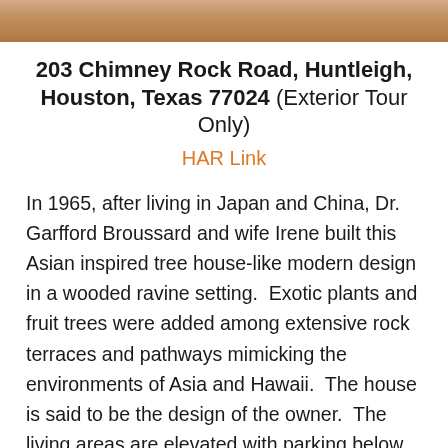[Figure (photo): Partial photo strip at the top of the page showing a house exterior, cropped]
203 Chimney Rock Road, Huntleigh, Houston, Texas 77024 (Exterior Tour Only)
HAR Link
In 1965, after living in Japan and China, Dr. Garfford Broussard and wife Irene built this Asian inspired tree house-like modern design in a wooded ravine setting.  Exotic plants and fruit trees were added among extensive rock terraces and pathways mimicking the environments of Asia and Hawaii.  The house is said to be the design of the owner.  The living areas are elevated with parking below.  An attractively detailed double height space was created for the family room where a